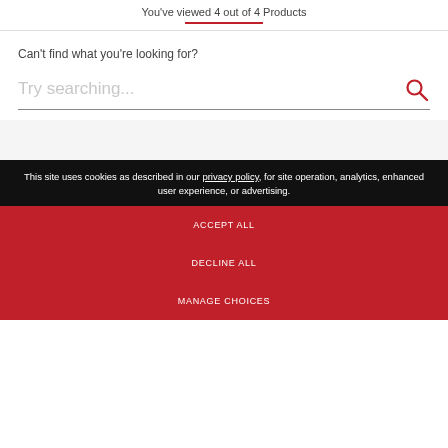You've viewed 4 out of 4 Products
Can't find what you're looking for?
Try searching...
This site uses cookies as described in our privacy policy, for site operation, analytics, enhanced user experience, or advertising.
ACCEPT ALL
DECLINE ALL
MANAGE CHOICES